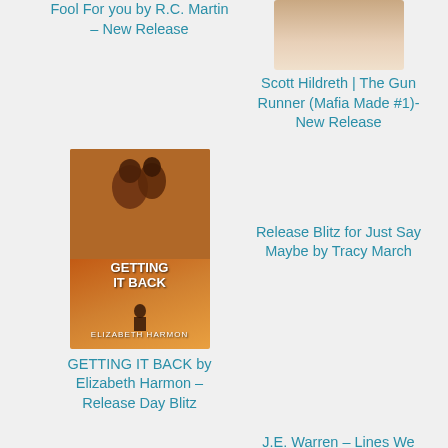Fool For you by R.C. Martin – New Release
[Figure (photo): Book-related photo showing what appears to be a watch or jewelry on a light background]
Scott Hildreth | The Gun Runner (Mafia Made #1)- New Release
[Figure (photo): Book cover for GETTING IT BACK by Elizabeth Harmon, showing a couple embracing with an orange/sunset background and a person silhouette at the bottom]
GETTING IT BACK by Elizabeth Harmon – Release Day Blitz
Release Blitz for Just Say Maybe by Tracy March
J.E. Warren – Lines We Draw – Release Blitz